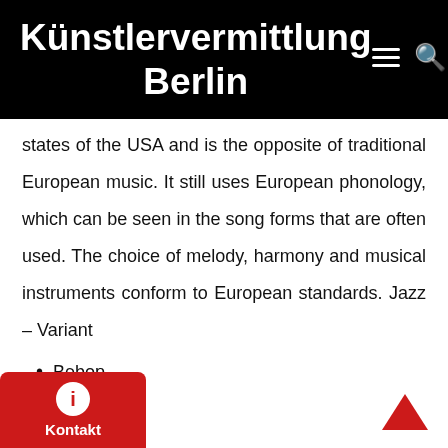Künstlervermittlung Berlin
states of the USA and is the opposite of traditional European music. It still uses European phonology, which can be seen in the song forms that are often used. The choice of melody, harmony and musical instruments conform to European standards. Jazz – Variant
Bebop.
Blues.
Chicago-Jazz.
Cool Jazz.